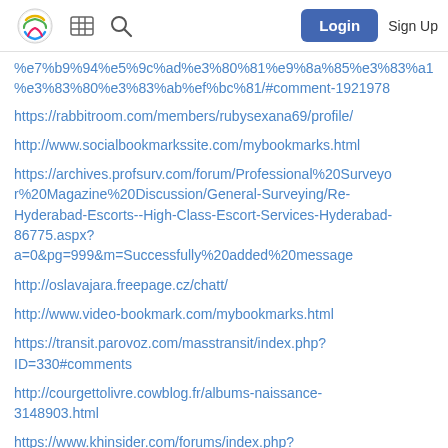Login  Sign Up
%e7%b9%94%e5%9c%ad%e3%80%81%e9%8a%85%e3%83%a1%e3%83%80%e3%83%ab%ef%bc%81/#comment-1921978
https://rabbitroom.com/members/rubysexana69/profile/
http://www.socialbookmarkssite.com/mybookmarks.html
https://archives.profsurv.com/forum/Professional%20Surveyor%20Magazine%20Discussion/General-Surveying/Re-Hyderabad-Escorts--High-Class-Escort-Services-Hyderabad-86775.aspx?a=0&pg=999&m=Successfully%20added%20message
http://oslavajara.freepage.cz/chatt/
http://www.video-bookmark.com/mybookmarks.html
https://transit.parovoz.com/masstransit/index.php?ID=330#comments
http://courgettolivre.cowblog.fr/albums-naissance-3148903.html
https://www.khinsider.com/forums/index.php?members/rubysexana69.271326/#about